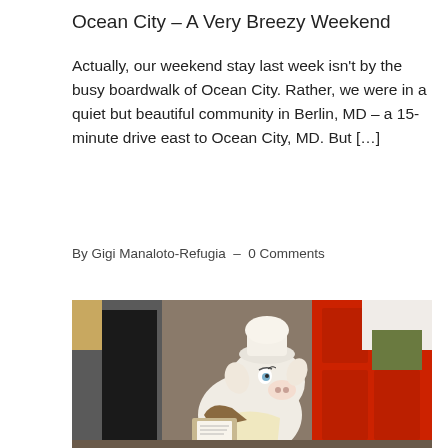Ocean City – A Very Breezy Weekend
Actually, our weekend stay last week isn't by the busy boardwalk of Ocean City. Rather, we were in a quiet but beautiful community in Berlin, MD – a 15-minute drive east to Ocean City, MD.  But […]
By Gigi Manaloto-Refugia  –  0 Comments
[Figure (photo): A ceramic pig figurine dressed as a chef with a white hat and yellow apron, holding a tray with a menu or note, displayed in front of a red door background.]